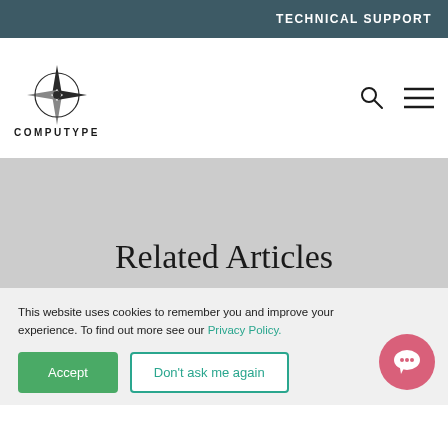TECHNICAL SUPPORT
[Figure (logo): Computype compass logo with company name COMPUTYPE below]
Related Articles
This website uses cookies to remember you and improve your experience. To find out more see our Privacy Policy.
Accept | Don't ask me again